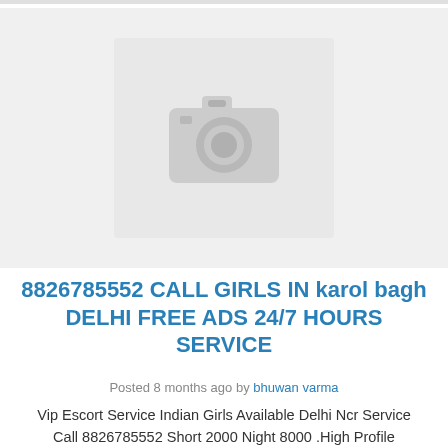[Figure (photo): Placeholder image with camera icon on light grey background]
8826785552 CALL GIRLS IN karol bagh DELHI FREE ADS 24/7 HOURS SERVICE
Posted 8 months ago by bhuwan varma
Vip Escort Service Indian Girls Available Delhi Ncr Service Call 8826785552 Short 2000 Night 8000 .High Profile Female Escorts In All Delhi .High Profile Female...